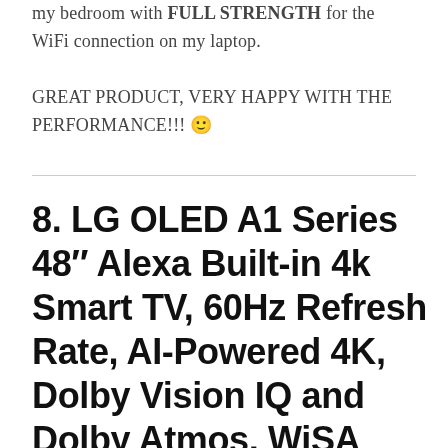my bedroom with FULL STRENGTH for the WiFi connection on my laptop.

GREAT PRODUCT, VERY HAPPY WITH THE PERFORMANCE!!! 🙂
8. LG OLED A1 Series 48″ Alexa Built-in 4k Smart TV, 60Hz Refresh Rate, AI-Powered 4K, Dolby Vision IQ and Dolby Atmos, WiSA Ready, Gaming Mode (OLE